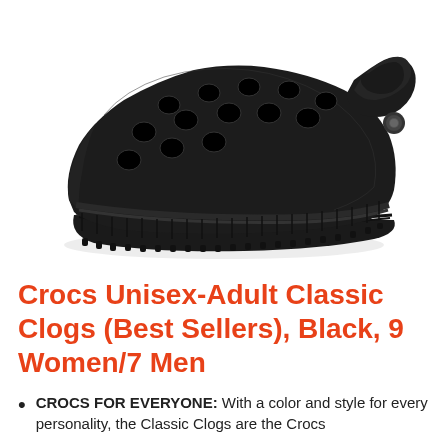[Figure (photo): Black Crocs Classic Clog shoe on white background, viewed from the side-front angle showing ventilation holes and strap]
Crocs Unisex-Adult Classic Clogs (Best Sellers), Black, 9 Women/7 Men
CROCS FOR EVERYONE: With a color and style for every personality, the Classic Clogs are the Crocs